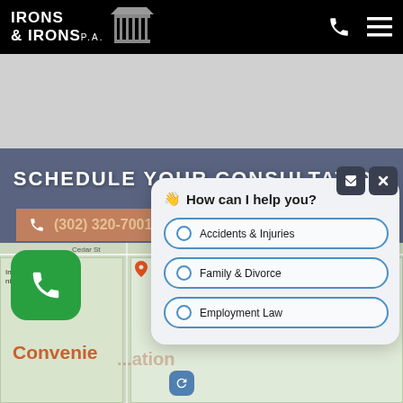IRONS & IRONS P.A.
SCHEDULE YOUR CONSULTATION
[Figure (screenshot): Google Maps view showing street map with Cedar St, Indigo Ridge Apartments area]
Convenie...tion
[Figure (screenshot): Chat widget with greeting: How can I help you? Options: Accidents & Injuries, Family & Divorce, Employment Law]
Accidents & Injuries
Family & Divorce
Employment Law